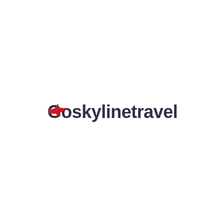[Figure (logo): Goskylinetravel logo: dark charcoal text reading 'Goskylinetravel' with a red airplane icon overlapping the letter G]